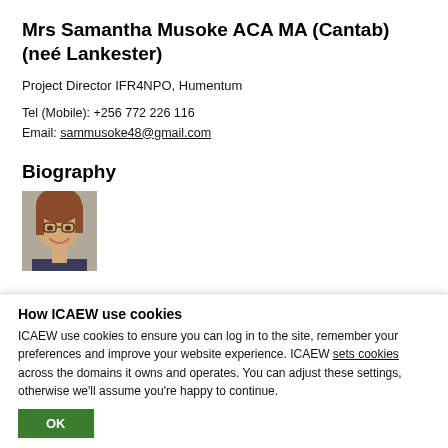Mrs Samantha Musoke ACA MA (Cantab) (neé Lankester)
Project Director IFR4NPO, Humentum
Tel (Mobile): +256 772 226 116
Email: sammusoke48@gmail.com
Biography
[Figure (photo): Headshot photo of Samantha Musoke, a woman with reddish-brown hair wearing glasses, smiling.]
How ICAEW use cookies
ICAEW use cookies to ensure you can log in to the site, remember your preferences and improve your website experience. ICAEW sets cookies across the domains it owns and operates. You can adjust these settings, otherwise we'll assume you're happy to continue.